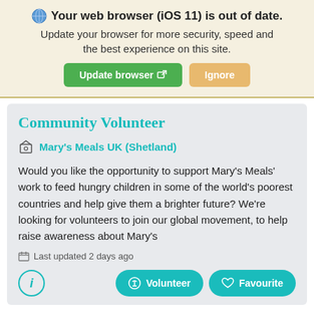Your web browser (iOS 11) is out of date. Update your browser for more security, speed and the best experience on this site. Update browser | Ignore
Community Volunteer
Mary's Meals UK (Shetland)
Would you like the opportunity to support Mary's Meals' work to feed hungry children in some of the world's poorest countries and help give them a brighter future? We're looking for volunteers to join our global movement, to help raise awareness about Mary's
Last updated 2 days ago
Listeners